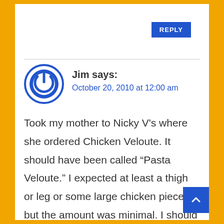REPLY
Jim says:
October 20, 2010 at 12:00 am
Took my mother to Nicky V's where she ordered Chicken Veloute. It should have been called “Pasta Veloute.” I expected at least a thigh or leg or some large chicken pieces, but the amount was minimal. I should have brought a magnifying glass for all the work I had to go through to find the chicken pieces. I felt